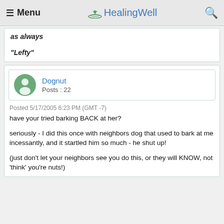≡ Menu   HealingWell   🔍
as always
"Lefty"
Dognut
Posts : 22
Posted 5/17/2005 6:23 PM (GMT -7)
have your tried barking BACK at her?

seriously - I did this once with neighbors dog that used to bark at me incessantly, and it startled him so much - he shut up!

(just don't let your neighbors see you do this, or they will KNOW, not 'think' you're nuts!)